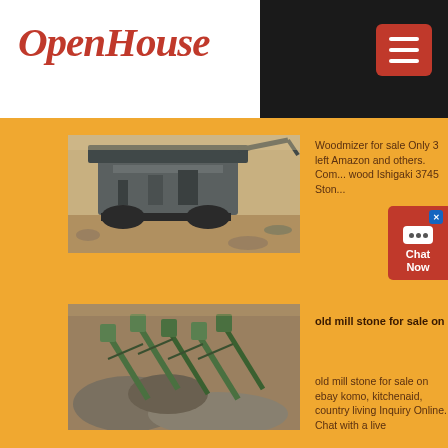OpenHouse
[Figure (photo): Industrial mining/crushing machine on rocky ground]
Woodmizer for sale Only 3 left Amazon and others. Com... wood Ishigaki 3745 Ston...
[Figure (photo): Aerial view of stone crushing / milling machinery and aggregate piles]
old mill stone for sale on
old mill stone for sale on ebay komo, kitchenaid, country living Inquiry Online. Chat with a live